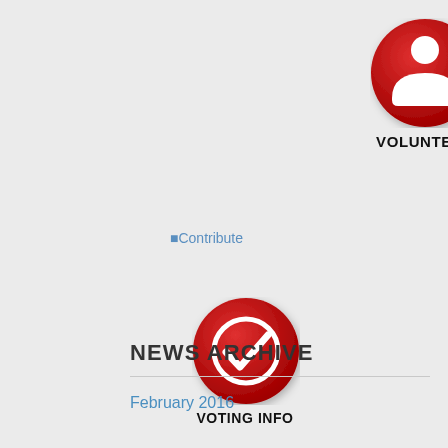[Figure (illustration): Red circle button with white person/volunteer silhouette icon]
VOLUNTEER
[Figure (illustration): Contribute image placeholder text link]
[Figure (illustration): Red circle button with white checkmark/voting icon]
VOTING INFO
[Figure (illustration): Red circle button with white calendar/events icon]
EVENTS
NEWS ARCHIVE
February 2016